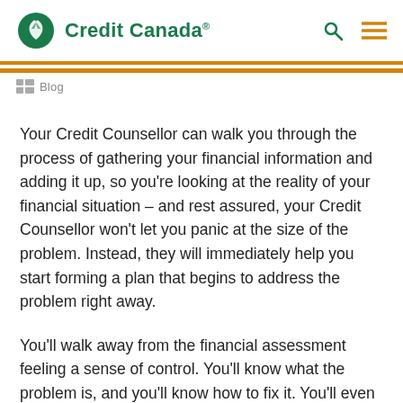Credit Canada
Your Credit Counsellor can walk you through the process of gathering your financial information and adding it up, so you’re looking at the reality of your financial situation – and rest assured, your Credit Counsellor won’t let you panic at the size of the problem. Instead, they will immediately help you start forming a plan that begins to address the problem right away.
You’ll walk away from the financial assessment feeling a sense of control. You’ll know what the problem is, and you’ll know how to fix it. You’ll even know when you’ll be debt-free – and